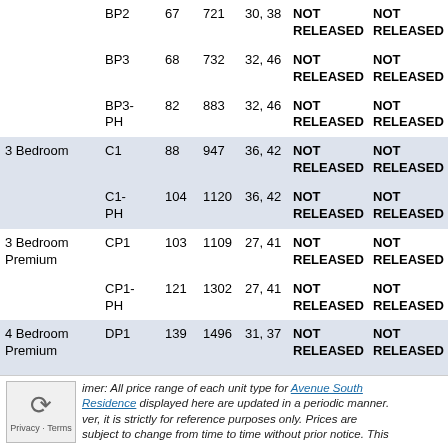| Type | Unit | Floor | Sqft | Levels | Price Range | Avg PSF |
| --- | --- | --- | --- | --- | --- | --- |
|  | BP2 | 67 | 721 | 30, 38 | NOT RELEASED | NOT RELEASED |
|  | BP3 | 68 | 732 | 32, 46 | NOT RELEASED | NOT RELEASED |
|  | BP3-PH | 82 | 883 | 32, 46 | NOT RELEASED | NOT RELEASED |
| 3 Bedroom | C1 | 88 | 947 | 36, 42 | NOT RELEASED | NOT RELEASED |
|  | C1-PH | 104 | 1120 | 36, 42 | NOT RELEASED | NOT RELEASED |
| 3 Bedroom Premium | CP1 | 103 | 1109 | 27, 41 | NOT RELEASED | NOT RELEASED |
|  | CP1-PH | 121 | 1302 | 27, 41 | NOT RELEASED | NOT RELEASED |
| 4 Bedroom Premium | DP1 | 139 | 1496 | 31, 37 | NOT RELEASED | NOT RELEASED |
|  | DP1-PH | 155 | 1668 | 31, 37 | NOT RELEASED | NOT RELEASED |
imer: All price range of each unit type for Avenue South Residence displayed here are updated in a periodic manner. ver, it is strictly for reference purposes only. Prices are subject to change from time to time without prior notice. This